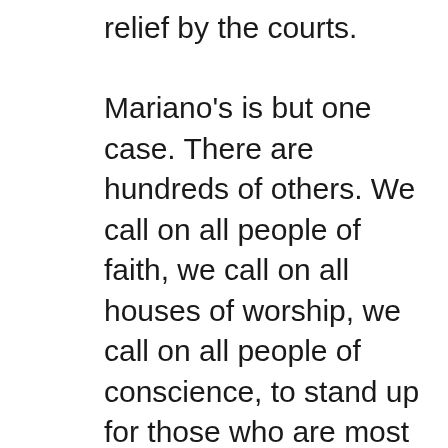relief by the courts.
Mariano's is but one case. There are hundreds of others. We call on all people of faith, we call on all houses of worship, we call on all people of conscience, to stand up for those who are most vulnerable in this moment. We call on everyone, people of faith and no faith, to do what we can to create places of refuge and sanctuary, that we may remember our common humanity and decency in this most indecent moment in our nation's